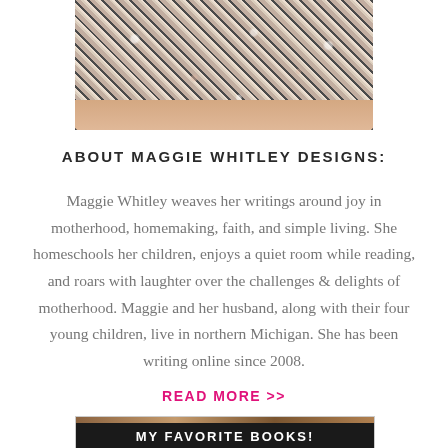[Figure (photo): Cropped photo of a person wearing a floral patterned dress, showing the midsection/torso area with floral black, white and peach fabric.]
ABOUT MAGGIE WHITLEY DESIGNS:
Maggie Whitley weaves her writings around joy in motherhood, homemaking, faith, and simple living. She homeschools her children, enjoys a quiet room while reading, and roars with laughter over the challenges & delights of motherhood. Maggie and her husband, along with their four young children, live in northern Michigan. She has been writing online since 2008.
READ MORE >>
[Figure (photo): Banner image with dark background showing 'MY FAVORITE BOOKS!' text in white bold letters, with books/woven material visible at top.]